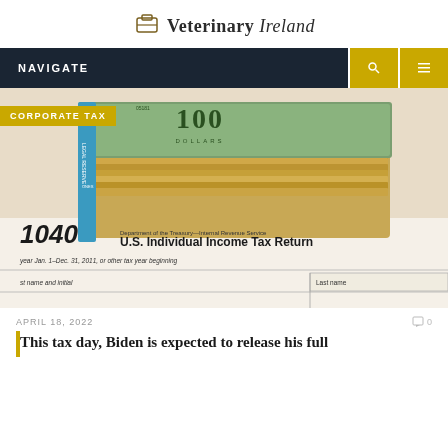Veterinary Ireland
NAVIGATE
[Figure (photo): Stack of US $100 bills on top of a 1040 U.S. Individual Income Tax Return form. The form shows text: Department of the Treasury—Internal Revenue Service, U.S. Individual Income Tax Return, year Jan. 1–Dec. 31, 2011, or other tax year beginning, st name and initial, Last name. A yellow tag reads CORPORATE TAX.]
APRIL 18, 2022
This tax day, Biden is expected to release his full